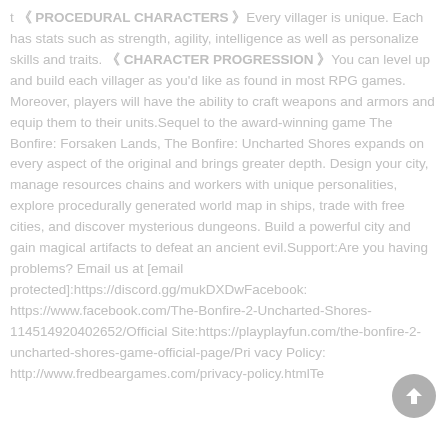t 《 PROCEDURAL CHARACTERS 》Every villager is unique. Each has stats such as strength, agility, intelligence as well as personalize skills and traits. 《 CHARACTER PROGRESSION 》You can level up and build each villager as you'd like as found in most RPG games. Moreover, players will have the ability to craft weapons and armors and equip them to their units.Sequel to the award-winning game The Bonfire: Forsaken Lands, The Bonfire: Uncharted Shores expands on every aspect of the original and brings greater depth. Design your city, manage resources chains and workers with unique personalities, explore procedurally generated world map in ships, trade with free cities, and discover mysterious dungeons. Build a powerful city and gain magical artifacts to defeat an ancient evil.Support:Are you having problems? Email us at [email protected]:https://discord.gg/mukDXDwFacebook: https://www.facebook.com/The-Bonfire-2-Uncharted-Shores-114514920402652/Official Site:https://playplayfun.com/the-bonfire-2-uncharted-shores-game-official-page/Privacy Policy: http://www.fredbeargames.com/privacy-policy.htmlTe